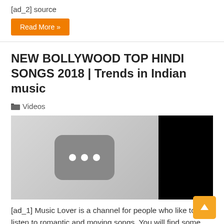[ad_2] source
Read More »
NEW BOLLYWOOD TOP HINDI SONGS 2018 | Trends in Indian music
Videos
[Figure (screenshot): Video thumbnail placeholder showing a grey background with a dark rounded rectangle containing three white dots, and a black panel on the right side]
[ad_1] Music Lover is a channel for people who like to listen to romantic and moving songs. You will find some beautiful songs from various singers, cover songs, mashup mixes, song lyrics